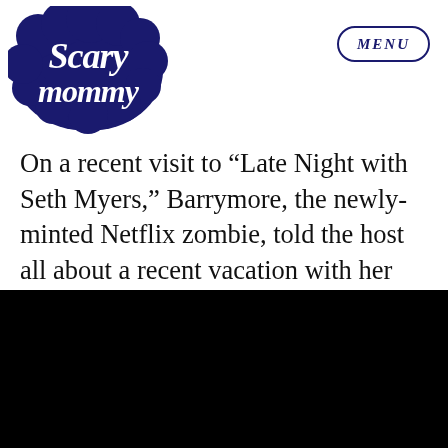Scary Mommy | MENU
On a recent visit to “Late Night with Seth Myers,” Barrymore, the newly-minted Netflix zombie, told the host all about a recent vacation with her two kids, Olive, four, and Frankie, two. “(Disney) was the best experience ever. I just had tears of joy seeing their joy.”
[Figure (other): Black video embed block]